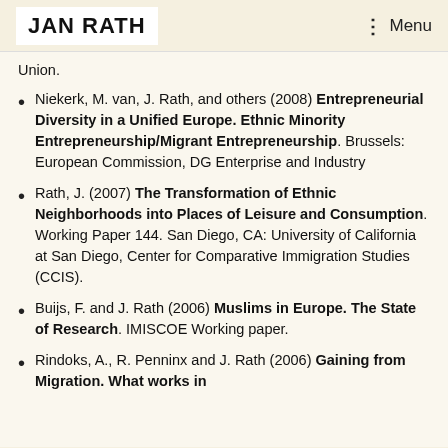JAN RATH | Menu
Union.
Niekerk, M. van, J. Rath, and others (2008) Entrepreneurial Diversity in a Unified Europe. Ethnic Minority Entrepreneurship/Migrant Entrepreneurship. Brussels: European Commission, DG Enterprise and Industry
Rath, J. (2007) The Transformation of Ethnic Neighborhoods into Places of Leisure and Consumption. Working Paper 144. San Diego, CA: University of California at San Diego, Center for Comparative Immigration Studies (CCIS).
Buijs, F. and J. Rath (2006) Muslims in Europe. The State of Research. IMISCOE Working paper.
Rindoks, A., R. Penninx and J. Rath (2006) Gaining from Migration. What works in